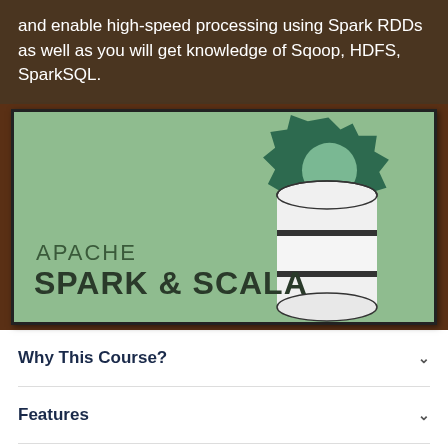and enable high-speed processing using Spark RDDs as well as you will get knowledge of Sqoop, HDFS, SparkSQL.
[Figure (illustration): Apache Spark & Scala course logo with a green background, gear icon, and database/cylinder icon. Text reads 'APACHE' and 'SPARK & SCALA'.]
Why This Course?
Features